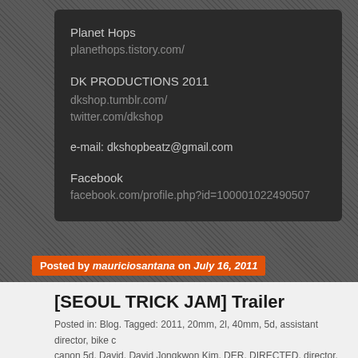Planet Hops
planethops.tistory.com/
DK PRODUCTIONS 2011
dkshop.tumblr.com/
twitter.com/dkshop
e-mail: dkshopbeatz@gmail.com
Facebook
facebook.com/profile.php?id=100001022490507
Posted by mauriciosantana on July 16, 2011
[SEOUL TRICK JAM] Trailer
Posted in: Blog. Tagged: 2011, 20mm, 2l, 40mm, 5d, assistant director, bike canon 5d, David, David Jongkwon Kim, DER, DIRECTED, director, dkshopbe Thirds SystemFour Thirds System, gh1, hell razah, Kunyoung Park, ladder, L camerasLive-preview digital cameras, love, LumixLumix, music, NY, own, Pa